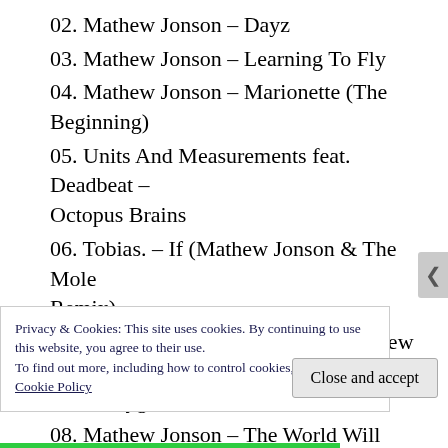02. Mathew Jonson – Dayz
03. Mathew Jonson – Learning To Fly
04. Mathew Jonson – Marionette (The Beginning)
05. Units And Measurements feat. Deadbeat – Octopus Brains
06. Tobias. – If (Mathew Jonson & The Mole Remix)
07. Mathew Jonson – In Search of a New Planet With Oxygen
08. Mathew Jonson – The World Will Come
Privacy & Cookies: This site uses cookies. By continuing to use this website, you agree to their use.
To find out more, including how to control cookies, see here: Cookie Policy
Close and accept